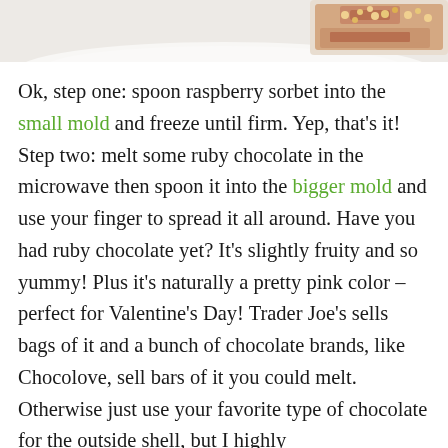[Figure (photo): Partial view of a food item (dessert/chocolate) on a white plate against a light background, cropped at top of page.]
Ok, step one: spoon raspberry sorbet into the small mold and freeze until firm. Yep, that's it! Step two: melt some ruby chocolate in the microwave then spoon it into the bigger mold and use your finger to spread it all around. Have you had ruby chocolate yet? It's slightly fruity and so yummy! Plus it's naturally a pretty pink color – perfect for Valentine's Day! Trader Joe's sells bags of it and a bunch of chocolate brands, like Chocolove, sell bars of it you could melt. Otherwise just use your favorite type of chocolate for the outside shell, but I highly